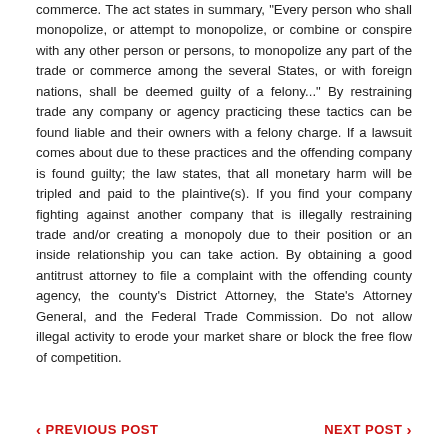commerce. The act states in summary, "Every person who shall monopolize, or attempt to monopolize, or combine or conspire with any other person or persons, to monopolize any part of the trade or commerce among the several States, or with foreign nations, shall be deemed guilty of a felony..." By restraining trade any company or agency practicing these tactics can be found liable and their owners with a felony charge. If a lawsuit comes about due to these practices and the offending company is found guilty; the law states, that all monetary harm will be tripled and paid to the plaintive(s). If you find your company fighting against another company that is illegally restraining trade and/or creating a monopoly due to their position or an inside relationship you can take action. By obtaining a good antitrust attorney to file a complaint with the offending county agency, the county's District Attorney, the State's Attorney General, and the Federal Trade Commission. Do not allow illegal activity to erode your market share or block the free flow of competition.
< PREVIOUS POST    NEXT POST >